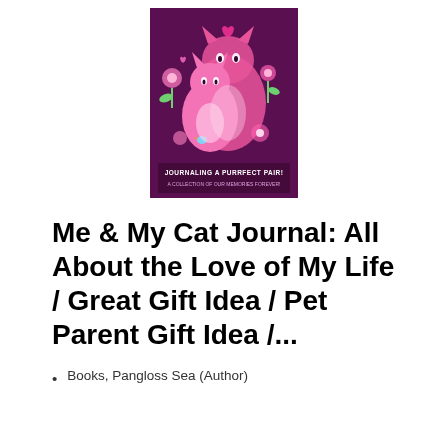[Figure (illustration): Book cover for 'Me & My Cat Journal' featuring two pink cats on a dark purple/magenta background with floral decorations and text 'JOURNALING A PURRFECT PAIR! A COLLECTION OF OUR MEMORIES FOREVER!']
Me & My Cat Journal: All About the Love of My Life / Great Gift Idea / Pet Parent Gift Idea /...
Books, Pangloss Sea (Author)